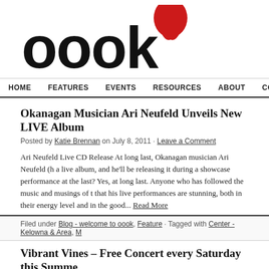[Figure (logo): oook logo — lowercase 'oook' in black with a red teardrop/speech-bubble shape above the letter k]
HOME   FEATURES   EVENTS   RESOURCES   ABOUT   CO...
Okanagan Musician Ari Neufeld Unveils New LIVE Album
Posted by Katie Brennan on July 8, 2011 · Leave a Comment
Ari Neufeld Live CD Release At long last, Okanagan musician Ari Neufeld (h a live album, and he'll be releasing it during a showcase performance at the last? Yes, at long last. Anyone who has followed the music and musings of t that his live performances are stunning, both in their energy level and in the good... Read More
Filed under Blog - welcome to oook, Feature · Tagged with Center - Kelowna & Area, M
Vibrant Vines – Free Concert every Saturday this Summer
Posted by Katie Brennan on July 6, 2011 · Leave a Comment